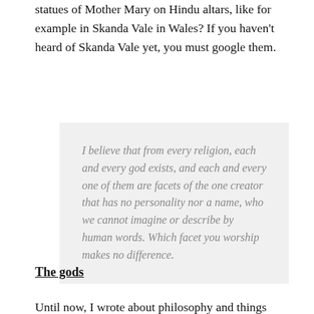statues of Mother Mary on Hindu altars, like for example in Skanda Vale in Wales? If you haven't heard of Skanda Vale yet, you must google them.
I believe that from every religion, each and every god exists, and each and every one of them are facets of the one creator that has no personality nor a name, who we cannot imagine or describe by human words. Which facet you worship makes no difference.
The gods
Until now, I wrote about philosophy and things